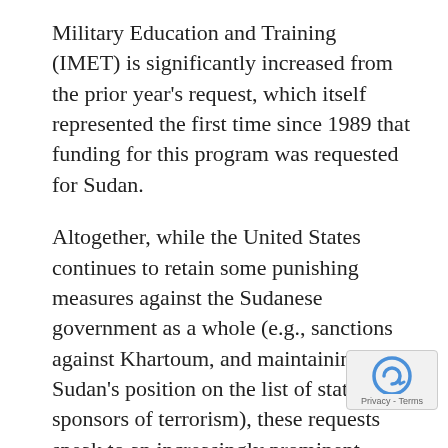Military Education and Training (IMET) is significantly increased from the prior year's request, which itself represented the first time since 1989 that funding for this program was requested for Sudan.
Altogether, while the United States continues to retain some punishing measures against the Sudanese government as a whole (e.g., sanctions against Khartoum, and maintaining Sudan's position on the list of state sponsors of terrorism), these requests speak to an increasingly prominent policy of cultivating allies in the Sudanese military and intelligence community. As stated baldly in the 2007 budget justification, "The United States will maintain its strong support for countries on the front lines in the War on Terrorism, espe[cially] Afghanistan, Pakistan, and Sudan." Due to th[e] fruitful intelligence-sharing relationship and